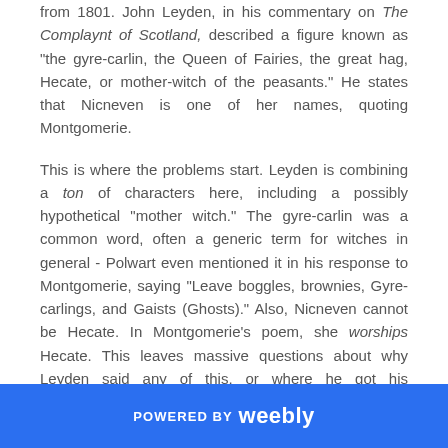from 1801. John Leyden, in his commentary on The Complaynt of Scotland, described a figure known as "the gyre-carlin, the Queen of Fairies, the great hag, Hecate, or mother-witch of the peasants." He states that Nicneven is one of her names, quoting Montgomerie.
This is where the problems start. Leyden is combining a ton of characters here, including a possibly hypothetical "mother witch." The gyre-carlin was a common word, often a generic term for witches in general - Polwart even mentioned it in his response to Montgomerie, saying "Leave boggles, brownies, Gyre-carlings, and Gaists (Ghosts)." Also, Nicneven cannot be Hecate. In Montgomerie's poem, she worships Hecate. This leaves massive questions about why Leyden said any of this, or where he got his information. But his interpretation quickly became widespread, appearing in dictionaries and in works by authors like Sir Walter Scott.
Some writers seem to have simply parroted Leyden, for
POWERED BY weebly